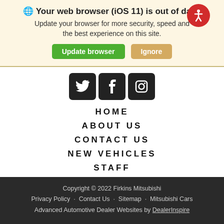🌐 Your web browser (iOS 11) is out of date. Update your browser for more security, speed and the best experience on this site.
Update browser | Ignore
[Figure (screenshot): Social media icons: Twitter, Facebook, Instagram on dark square rounded backgrounds]
HOME
ABOUT US
CONTACT US
NEW VEHICLES
STAFF
Copyright © 2022 Firkins Mitsubishi
Privacy Policy · Contact Us · Sitemap · Mitsubishi Cars
Advanced Automotive Dealer Websites by DealerInspire
Value Your Trade